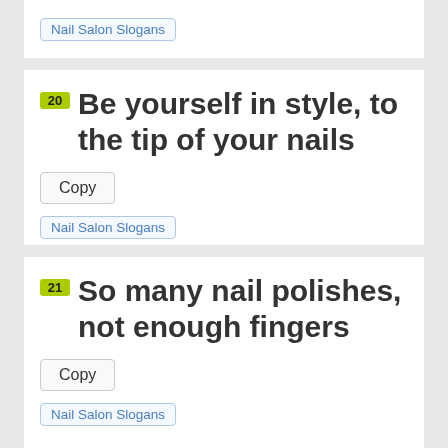Nail Salon Slogans
20 Be yourself in style, to the tip of your nails
Copy
Nail Salon Slogans
21 So many nail polishes, not enough fingers
Copy
Nail Salon Slogans